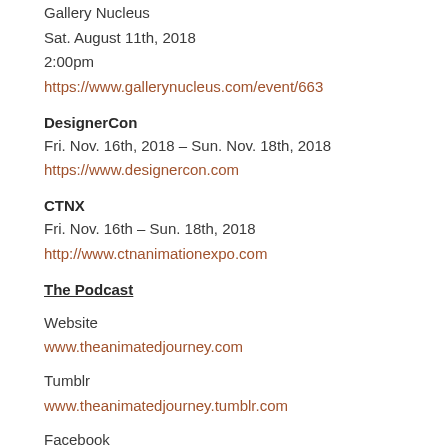Gallery Nucleus
Sat. August 11th, 2018
2:00pm
https://www.gallerynucleus.com/event/663
DesignerCon
Fri. Nov. 16th, 2018 – Sun. Nov. 18th, 2018
https://www.designercon.com
CTNX
Fri. Nov. 16th – Sun. 18th, 2018
http://www.ctnanimationexpo.com
The Podcast
Website
www.theanimatedjourney.com
Tumblr
www.theanimatedjourney.tumblr.com
Facebook